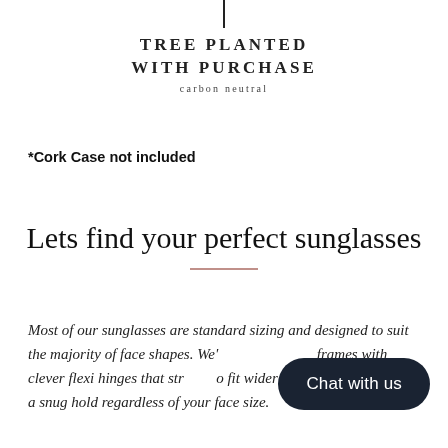[Figure (logo): Vertical line above text logo reading 'TREE PLANTED WITH PURCHASE' with 'carbon neutral' below in spaced lettering]
*Cork Case not included
Lets find your perfect sunglasses
Most of our sunglasses are standard sizing and designed to suit the majority of face shapes. We' ... frames with clever flexi hinges that str... to fit wider faces while providing a snug hold regardless of your face size.